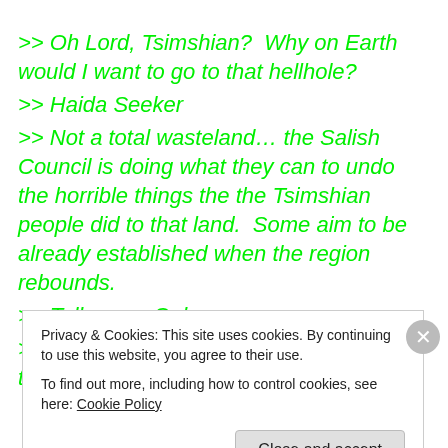>> Oh Lord, Tsimshian?  Why on Earth would I want to go to that hellhole?
>> Haida Seeker
>> Not a total wasteland… the Salish Council is doing what they can to undo the horrible things the the Tsimshian people did to that land.  Some aim to be already established when the region rebounds.
>> Tall-as-an-Oak
>> You mean what Mitsuhama did that that land, right, trog?
Privacy & Cookies: This site uses cookies. By continuing to use this website, you agree to their use.
To find out more, including how to control cookies, see here: Cookie Policy
Close and accept